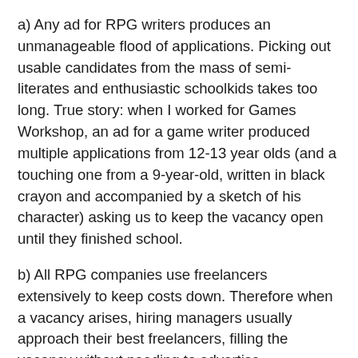a) Any ad for RPG writers produces an unmanageable flood of applications. Picking out usable candidates from the mass of semi-literates and enthusiastic schoolkids takes too long. True story: when I worked for Games Workshop, an ad for a game writer produced multiple applications from 12-13 year olds (and a touching one from a 9-year-old, written in black crayon and accompanied by a sketch of his character) asking us to keep the vacancy open until they finished school.
b) All RPG companies use freelancers extensively to keep costs down. Therefore when a vacancy arises, hiring managers usually approach their best freelancers, filling the vacancy without needing to advertise.
Or, you can do what most people do and found your own company.